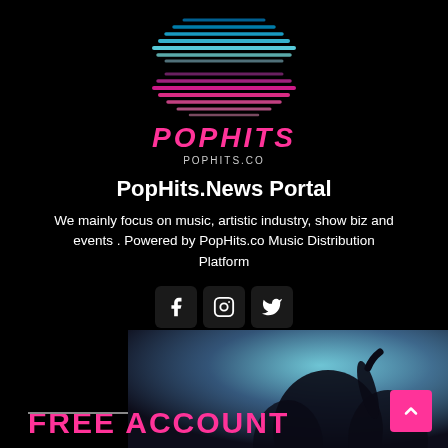[Figure (logo): PopHits logo with neon soundwave graphic — layered horizontal neon lines forming a sound wave shape in blue and pink tones, above and below the POPHITS text]
POPHITS
POPHITS.CO
PopHits.News Portal
We mainly focus on music, artistic industry, show biz and events . Powered by PopHits.co Music Distribution Platform
[Figure (infographic): Three social media icon buttons: Facebook, Instagram, Twitter — dark rounded square buttons with white icons]
[Figure (photo): Bottom section: dark background with blue/purple toned concert crowd photo on the right side, and a pink 'FREE ACCOUNT' heading on the bottom left with a scroll-up pink button on the far right]